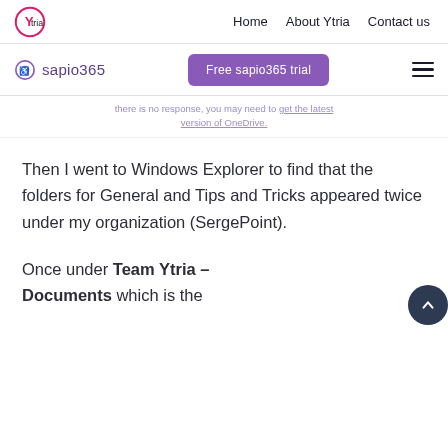Home   About Ytria   Contact us
sapio365   Free sapio365 trial
there is no response, you may need to get the latest version of OneDrive.
Then I went to Windows Explorer to find that the folders for General and Tips and Tricks appeared twice under my organization (SergePoint).
Once under Team Ytria – Documents which is the